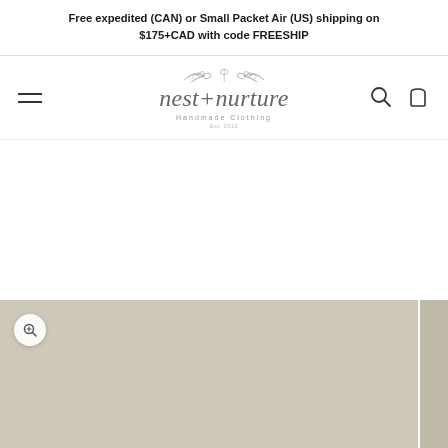Free expedited (CAN) or Small Packet Air (US) shipping on $175+CAD with code FREESHIP
[Figure (logo): nest+nurture Handmade Clothing logo with decorative leaf/branch motif above the script text. Est. 2013 below.]
[Figure (photo): Partial product photo at bottom of page showing a beige/taupe clothing item on a neutral background, with a zoom magnifier button in the top left corner.]